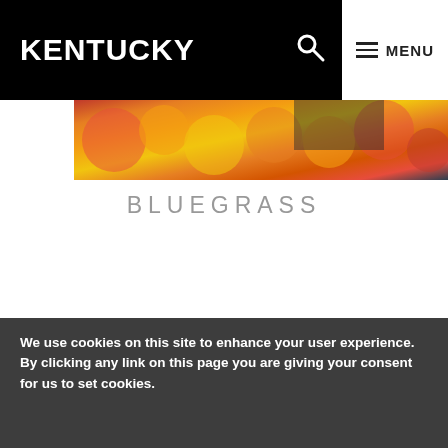KENTUCKY    🔍    ≡ MENU
[Figure (photo): Colorful flowers, orange and yellow blooms, market display]
BLUEGRASS
We use cookies on this site to enhance your user experience. By clicking any link on this page you are giving your consent for us to set cookies.
LEARN MORE
OK, I AGREE